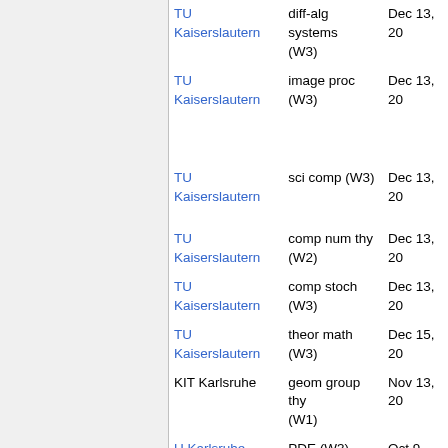| Institution | Field | Date |
| --- | --- | --- |
| TU Kaiserslautern | diff-alg systems (W3) | Dec 13, 20… |
| TU Kaiserslautern | image proc (W3) | Dec 13, 20… |
| TU Kaiserslautern | sci comp (W3) | Dec 13, 20… |
| TU Kaiserslautern | comp num thy (W2) | Dec 13, 20… |
| TU Kaiserslautern | comp stoch (W3) | Dec 13, 20… |
| TU Kaiserslautern | theor math (W3) | Dec 15, 20… |
| KIT Karlsruhe | geom group thy (W1) | Nov 13, 20… |
| U Karlsruhe | PDE (W3) | Oct 9, 200… |